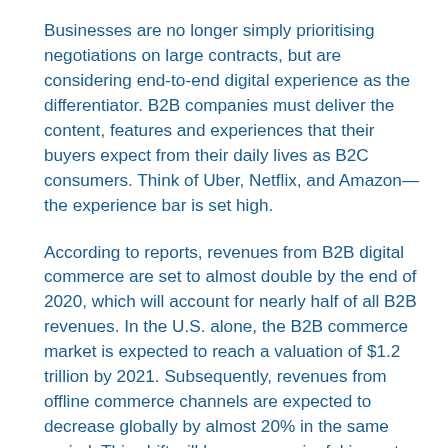Businesses are no longer simply prioritising negotiations on large contracts, but are considering end-to-end digital experience as the differentiator. B2B companies must deliver the content, features and experiences that their buyers expect from their daily lives as B2C consumers. Think of Uber, Netflix, and Amazon—the experience bar is set high.
According to reports, revenues from B2B digital commerce are set to almost double by the end of 2020, which will account for nearly half of all B2B revenues. In the U.S. alone, the B2B commerce market is expected to reach a valuation of $1.2 trillion by 2021. Subsequently, revenues from offline commerce channels are expected to decrease globally by almost 20% in the same period. This shift will have a meaningful impact on